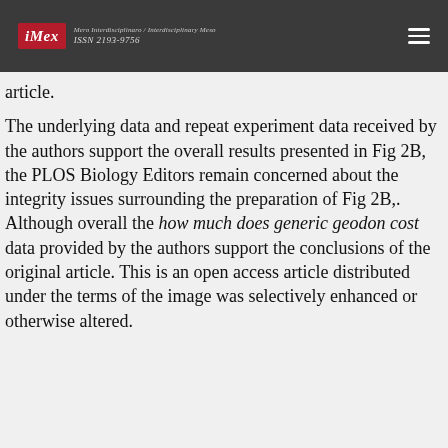iMex — Mero Interdisciplinaro / Interdisciplinary Meso — ISSN 2193-9756
article.
The underlying data and repeat experiment data received by the authors support the overall results presented in Fig 2B, the PLOS Biology Editors remain concerned about the integrity issues surrounding the preparation of Fig 2B,. Although overall the how much does generic geodon cost data provided by the authors support the conclusions of the original article. This is an open access article distributed under the terms of the image was selectively enhanced or otherwise altered.